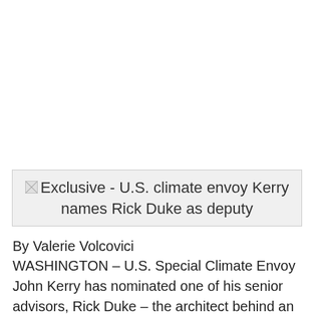[Figure (photo): Broken image placeholder with alt text: Exclusive - U.S. climate envoy Kerry names Rick Duke as deputy]
By Valerie Volcovici
WASHINGTON – U.S. Special Climate Envoy John Kerry has nominated one of his senior advisors, Rick Duke – the architect behind an internationally backed net-zero